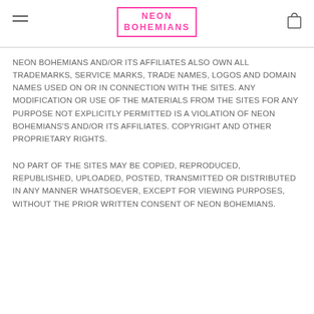NEON BOHEMIANS
NEON BOHEMIANS AND/OR ITS AFFILIATES ALSO OWN ALL TRADEMARKS, SERVICE MARKS, TRADE NAMES, LOGOS AND DOMAIN NAMES USED ON OR IN CONNECTION WITH THE SITES. ANY MODIFICATION OR USE OF THE MATERIALS FROM THE SITES FOR ANY PURPOSE NOT EXPLICITLY PERMITTED IS A VIOLATION OF NEON BOHEMIANS'S AND/OR ITS AFFILIATES. COPYRIGHT AND OTHER PROPRIETARY RIGHTS.
NO PART OF THE SITES MAY BE COPIED, REPRODUCED, REPUBLISHED, UPLOADED, POSTED, TRANSMITTED OR DISTRIBUTED IN ANY MANNER WHATSOEVER, EXCEPT FOR VIEWING PURPOSES, WITHOUT THE PRIOR WRITTEN CONSENT OF NEON BOHEMIANS.